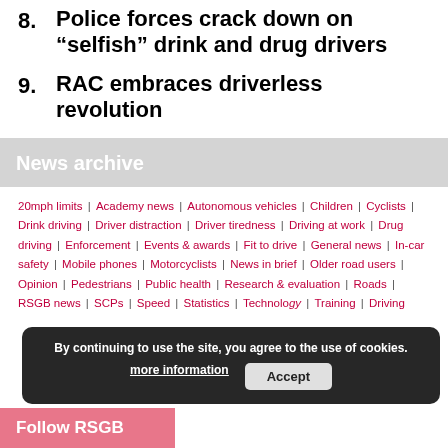8. Police forces crack down on “selfish” drink and drug drivers
9. RAC embraces driverless revolution
News archive
20mph limits | Academy news | Autonomous vehicles | Children | Cyclists | Drink driving | Driver distraction | Driver tiredness | Driving at work | Drug driving | Enforcement | Events & awards | Fit to drive | General news | In-car safety | Mobile phones | Motorcyclists | News in brief | Older road users | Opinion | Pedestrians | Public health | Research & evaluation | Roads | RSGB news | SCPs | Speed | Statistics | Technology | Training | Driving
By continuing to use the site, you agree to the use of cookies. more information | Accept
Follow RSGB